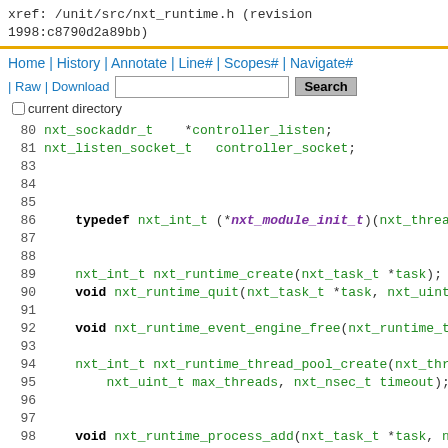xref: /unit/src/nxt_runtime.h (revision 1998:c8790d2a89bb)
Home | History | Annotate | Line# | Scopes# | Navigate#
| Raw | Download   [search box]  Search
□ current directory
Source code lines 80-105 of nxt_runtime.h
80   nxt_socket_t   *controller_listen;
81   nxt_listen_socket_t   controller_socket;
82   [checkbox] current directory
83
84
85
86   typedef nxt_int_t (*nxt_module_init_t)(nxt_thread_...
87
88
89   nxt_int_t nxt_runtime_create(nxt_task_t *task);
90   void nxt_runtime_quit(nxt_task_t *task, nxt_uint_t...
91
92   void nxt_runtime_event_engine_free(nxt_runtime_t *...
93
94   nxt_int_t nxt_runtime_thread_pool_create(nxt_threa...
95       nxt_uint_t max_threads, nxt_nsec_t timeout);
96
97
98   void nxt_runtime_process_add(nxt_task_t *task, nxt...
99   void nxt_runtime_process_remove(nxt_runtime_t *rt,...
100
101  nxt_process_t *nxt_runtime_process_find(nxt_runtim...
102
103  nxt_process_t *nxt_runtime_process_first(nxt_runti...
104      nxt_lvlhsh_each_t *lhe);
105